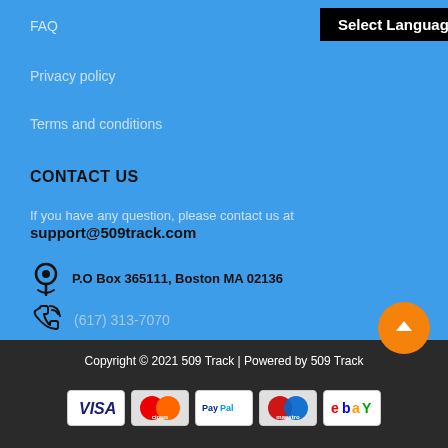FAQ
Privacy policy
Terms and conditions
CONTACT US
If you have any question, please contact us at support@509track.com
P.O Box 365111, Boston MA 02136
(617) 313-7070
Copyright © 2021 509 Track | Powered by 509 Track
[Figure (other): Payment method icons: VISA, Cirrus, PayPal, Maestro, eBay]